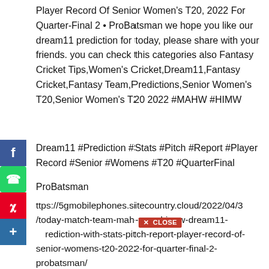Player Record Of Senior Women’s T20, 2022 For Quarter-Final 2 • ProBatsman we hope you like our dream11 prediction for today, please share with your friends. you can check this categories also Fantasy Cricket Tips,Women’s Cricket,Dream11,Fantasy Cricket,Fantasy Team,Predictions,Senior Women’s T20,Senior Women’s T20 2022 #MAHW #HIMW
Dream11 #Prediction #Stats #Pitch #Report #Player Record #Senior #Womens #T20 #QuarterFinal
ProBatsman
ttps://5gmobilephones.sitecountry.cloud/2022/04/3/today-match-team-mah-w-vs-him-w-dream11-rediction-with-stats-pitch-report-player-record-of-senior-womens-t20-2022-for-quarter-final-2-probatsman/